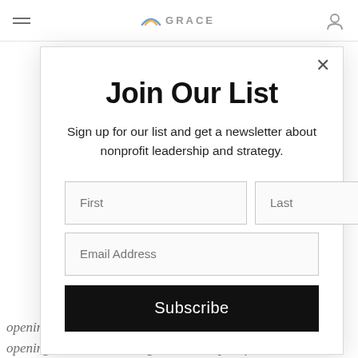GRACE
Join Our List
Sign up for our list and get a newsletter about nonprofit leadership and strategy.
First | Last | Email Address | Subscribe
opening is, right? That's the piece like where the opening is so that we can go in and help shift. So it's